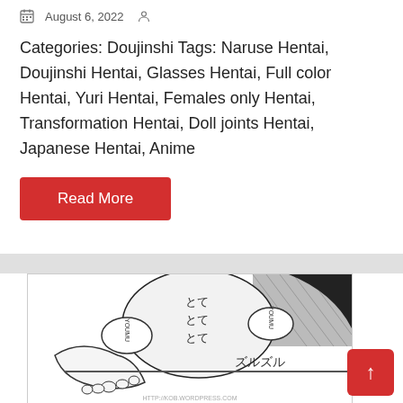August 6, 2022
Categories: Doujinshi Tags: Naruse Hentai, Doujinshi Hentai, Glasses Hentai, Full color Hentai, Yuri Hentai, Females only Hentai, Transformation Hentai, Doll joints Hentai, Japanese Hentai, Anime
Read More
[Figure (illustration): Manga/anime style black and white illustration showing characters with Japanese text speech bubbles including 'YOUMU' and Japanese characters とてとてとて and ズルズル, with a wordpress.com watermark at the bottom]